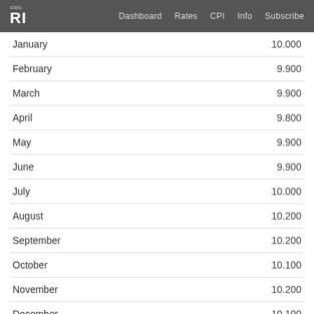RI | Dashboard  Rates  CPI  Info  Subscribe
| Month | Value |
| --- | --- |
| January | 10.000 |
| February | 9.900 |
| March | 9.900 |
| April | 9.800 |
| May | 9.900 |
| June | 9.900 |
| July | 10.000 |
| August | 10.200 |
| September | 10.200 |
| October | 10.100 |
| November | 10.200 |
| December | 10.100 |